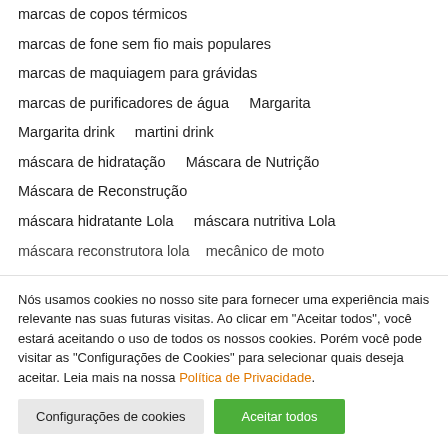marcas de copos térmicos
marcas de fone sem fio mais populares
marcas de maquiagem para grávidas
marcas de purificadores de água    Margarita
Margarita drink    martini drink
máscara de hidratação    Máscara de Nutrição
Máscara de Reconstrução
máscara hidratante Lola    máscara nutritiva Lola
máscara reconstrutora lola    mecânico de moto…
Nós usamos cookies no nosso site para fornecer uma experiência mais relevante nas suas futuras visitas. Ao clicar em "Aceitar todos", você estará aceitando o uso de todos os nossos cookies. Porém você pode visitar as "Configurações de Cookies" para selecionar quais deseja aceitar. Leia mais na nossa Política de Privacidade.